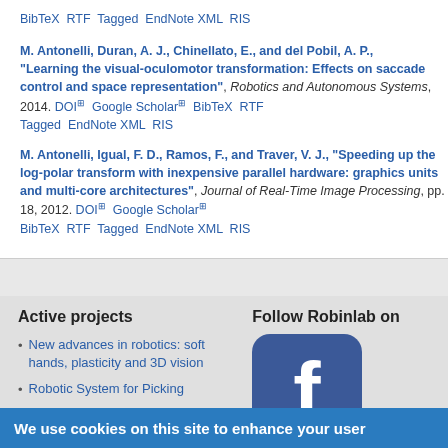BibTeX  RTF  Tagged  EndNote XML  RIS
M. Antonelli, Duran, A. J., Chinellato, E., and del Pobil, A. P., "Learning the visual-oculomotor transformation: Effects on saccade control and space representation", Robotics and Autonomous Systems, 2014. DOI  Google Scholar  BibTeX  RTF  Tagged  EndNote XML  RIS
M. Antonelli, Igual, F. D., Ramos, F., and Traver, V. J., "Speeding up the log-polar transform with inexpensive parallel hardware: graphics units and multi-core architectures", Journal of Real-Time Image Processing, pp. 1-18, 2012. DOI  Google Scholar  BibTeX  RTF  Tagged  EndNote XML  RIS
Active projects
New advances in robotics: soft hands, plasticity and 3D vision
Robotic System for Picking
Follow Robinlab on
[Figure (logo): Facebook logo — blue rounded square with white 'f']
We use cookies on this site to enhance your user